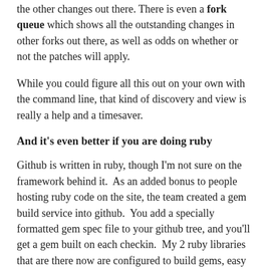the other changes out there. There is even a fork queue which shows all the outstanding changes in other forks out there, as well as odds on whether or not the patches will apply.
While you could figure all this out on your own with the command line, that kind of discovery and view is really a help and a timesaver.
And it's even better if you are doing ruby
Github is written in ruby, though I'm not sure on the framework behind it. As an added bonus to people hosting ruby code on the site, the team created a gem build service into github. You add a specially formatted gem spec file to your github tree, and you'll get a gem built on each checkin. My 2 ruby libraries that are there now are configured to build gems, easy for all to install.
If you haven't checked out git, or github, you should. While I